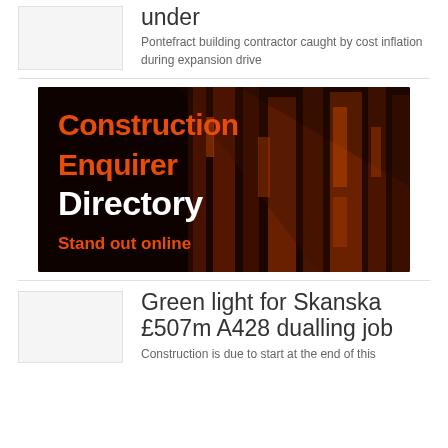[Figure (photo): Small thumbnail placeholder image]
under
Pontefract building contractor caught by cost inflation during expansion drive
[Figure (illustration): Construction Enquirer Directory advertisement banner with orange and white text on a dark reddish building facade background. Text reads: Construction Enquirer Directory. Stand out online.]
[Figure (photo): Small thumbnail placeholder image]
Green light for Skanska £507m A428 dualling job
Construction is due to start at the end of this